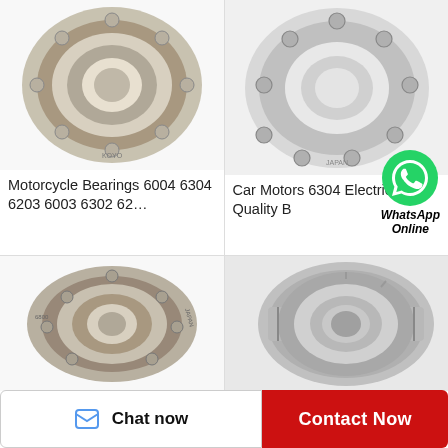[Figure (photo): Close-up photo of a motorcycle angular contact ball bearing (6004 series), metallic silver/bronze color, viewed at angle]
[Figure (photo): Close-up photo of a car motor open ball bearing (6304 series), silver metallic, viewed from slight angle showing balls]
Motorcycle Bearings 6004 6304 6203 6003 6302 62…
Car Motors 6304 Electric Motor Quality B…
[Figure (photo): WhatsApp logo icon (green circle with white phone handset)]
WhatsApp Online
[Figure (photo): Angular contact ball bearing (lower left), metallic silver/bronze, Japan labeled, viewed at angle]
[Figure (photo): Larger shielded ball bearing (lower right), silver/gray metallic with shield cover]
Chat now
Contact Now